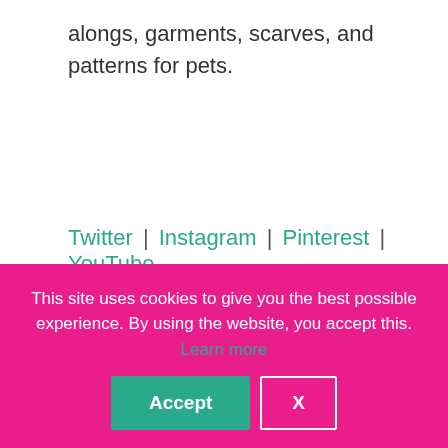alongs, garments, scarves, and patterns for pets.
Twitter | Instagram | Pinterest | YouTube
The Crochet Dude
This site uses cookies to give you the best possible experience. By using the website, you accept this. Learn more